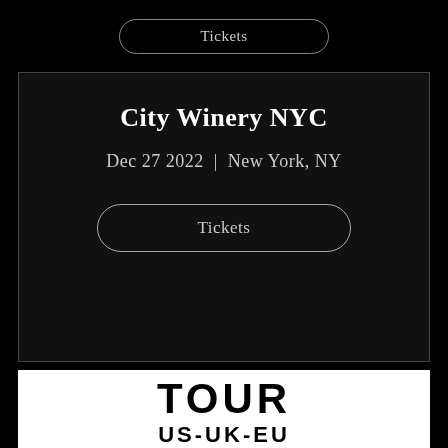Tickets
City Winery NYC
Dec 27 2022 | New York, NY
Tickets
TOUR
US-UK-EU